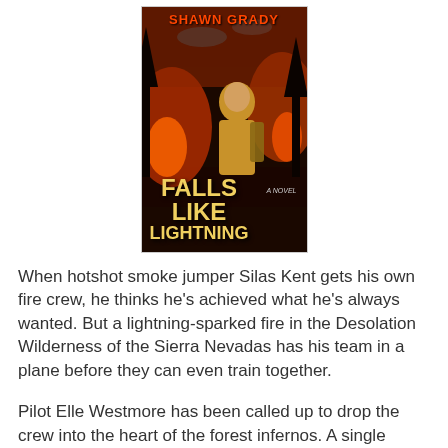[Figure (photo): Book cover of 'Falls Like Lightning' by Shawn Grady. Shows a male figure in firefighter gear against a fiery forest background. Title text in large gold/yellow letters, author name at top in red-orange.]
When hotshot smoke jumper Silas Kent gets his own fire crew, he thinks he's achieved what he's always wanted. But a lightning-sparked fire in the Desolation Wilderness of the Sierra Nevadas has his team in a plane before they can even train together.
Pilot Elle Westmore has been called up to drop the crew into the heart of the forest infernos. A single mother of a mysteriously ill six-year-old, she can't imagine her life getting any more complicated.
It doesn't take long for things to go very wrong, very quickly.